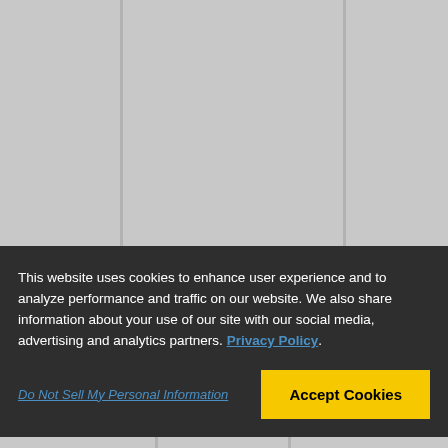[Figure (screenshot): Website background with gray columns separated by darker gray vertical dividers, suggesting a webpage layout.]
This website uses cookies to enhance user experience and to analyze performance and traffic on our website. We also share information about your use of our site with our social media, advertising and analytics partners. Privacy Policy
Do Not Sell My Personal Information
Accept Cookies